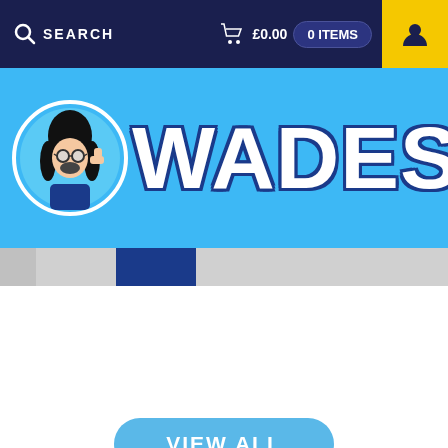SEARCH   £0.00   0 ITEMS
WADES
[Figure (screenshot): Navigation strip with tabs, one highlighted in dark blue]
VIEW ALL
Get in touch